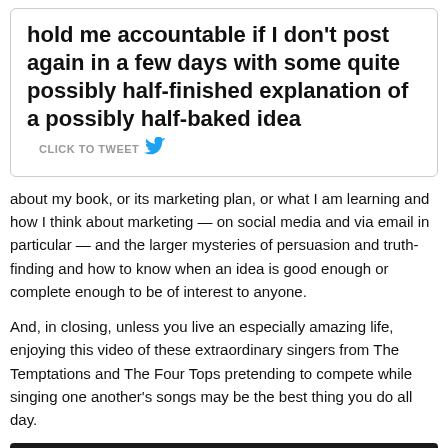hold me accountable if I don't post again in a few days with some quite possibly half-finished explanation of a possibly half-baked idea   CLICK TO TWEET
about my book, or its marketing plan, or what I am learning and how I think about marketing — on social media and via email in particular — and the larger mysteries of persuasion and truth-finding and how to know when an idea is good enough or complete enough to be of interest to anyone.
And, in closing, unless you live an especially amazing life, enjoying this video of these extraordinary singers from The Temptations and The Four Tops pretending to compete while singing one another's songs may be the best thing you do all day.
[Figure (screenshot): YouTube video embed showing 'Four Tops vs Temptations (Motow...' with a man's avatar photo on a dark background with three-dot menu icon]